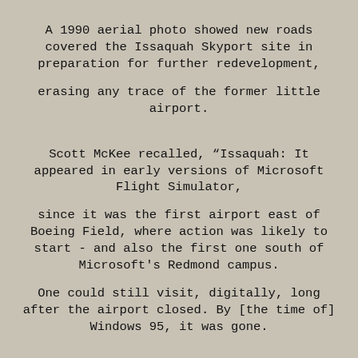[Figure (photo): Faded aerial/ground photograph of the Issaquah Skyport area showing vegetation and possibly aircraft wreckage, used as a washed-out background image.]
A 1990 aerial photo showed new roads covered the Issaquah Skyport site in preparation for further redevelopment,
erasing any trace of the former little airport.
Scott McKee recalled, “Issaquah: It appeared in early versions of Microsoft Flight Simulator,
since it was the first airport east of Boeing Field, where action was likely to start - and also the first one south of Microsoft's Redmond campus.
One could still visit, digitally, long after the airport closed. By [the time of] Windows 95, it was gone.